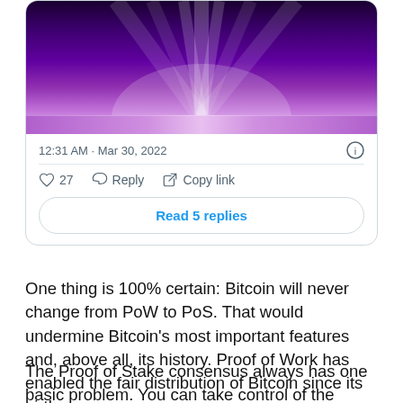[Figure (screenshot): Screenshot of a tweet card showing a purple glowing light image, timestamp '12:31 AM · Mar 30, 2022', like count 27, Reply button, Copy link button, and a 'Read 5 replies' button.]
One thing is 100% certain: Bitcoin will never change from PoW to PoS. That would undermine Bitcoin's most important features and, above all, its history. Proof of Work has enabled the fair distribution of Bitcoin since its birth.
The Proof of Stake consensus always has one basic problem. You can take control of the network with